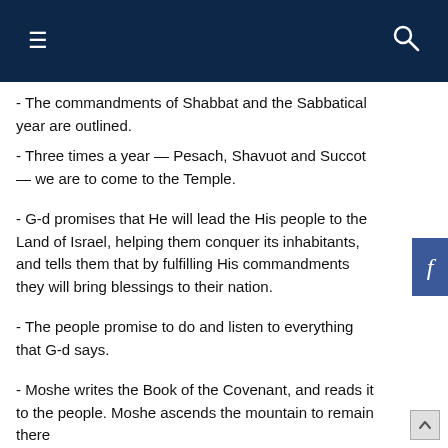Navigation bar with menu and search icons
- The commandments of Shabbat and the Sabbatical year are outlined.
- Three times a year — Pesach, Shavuot and Succot — we are to come to the Temple.
- G-d promises that He will lead the His people to the Land of Israel, helping them conquer its inhabitants, and tells them that by fulfilling His commandments they will bring blessings to their nation.
- The people promise to do and listen to everything that G-d says.
- Moshe writes the Book of the Covenant, and reads it to the people. Moshe ascends the mountain to remain there for 40 days, to receive the two Tablets of the...